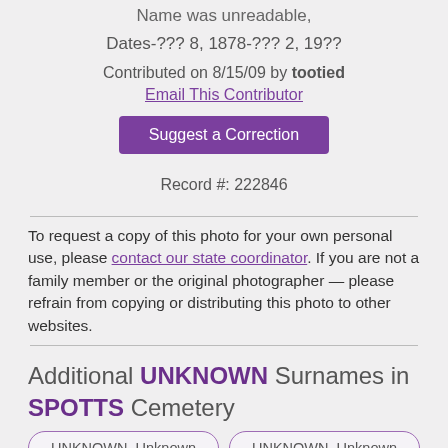Name was unreadable,
Dates-??? 8, 1878-??? 2, 19??
Contributed on 8/15/09 by tootied
Email This Contributor
Suggest a Correction
Record #: 222846
To request a copy of this photo for your own personal use, please contact our state coordinator. If you are not a family member or the original photographer — please refrain from copying or distributing this photo to other websites.
Additional UNKNOWN Surnames in SPOTTS Cemetery
UNKNOWN, Unknown
UNKNOWN, Unknown
UNKNOWN, George
UNKNOWN, Infant Son